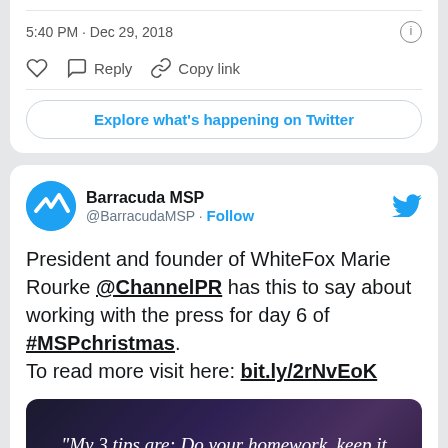5:40 PM · Dec 29, 2018
Reply  Copy link
Explore what's happening on Twitter
Barracuda MSP @BarracudaMSP · Follow
President and founder of WhiteFox Marie Rourke @ChannelPR has this to say about working with the press for day 6 of #MSPchristmas.
To read more visit here: bit.ly/2rNvEoK
[Figure (screenshot): Dark purple/blue background image with italic white serif quote text: "My 3 tips are: Do your homework, keep it simple and"]